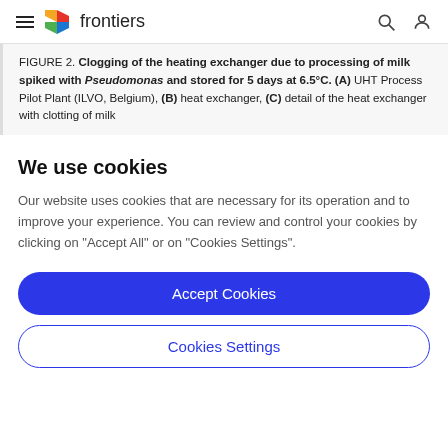frontiers
FIGURE 2. Clogging of the heating exchanger due to processing of milk spiked with Pseudomonas and stored for 5 days at 6.5°C. (A) UHT Process Pilot Plant (ILVO, Belgium), (B) heat exchanger, (C) detail of the heat exchanger with clotting of milk
We use cookies
Our website uses cookies that are necessary for its operation and to improve your experience. You can review and control your cookies by clicking on "Accept All" or on "Cookies Settings".
Accept Cookies
Cookies Settings